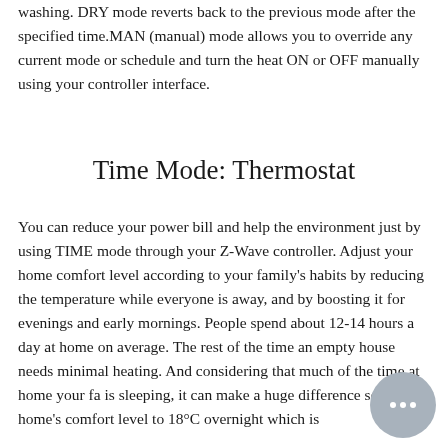washing. DRY mode reverts back to the previous mode after the specified time.MAN (manual) mode allows you to override any current mode or schedule and turn the heat ON or OFF manually using your controller interface.
Time Mode: Thermostat
You can reduce your power bill and help the environment just by using TIME mode through your Z-Wave controller. Adjust your home comfort level according to your family's habits by reducing the temperature while everyone is away, and by boosting it for evenings and early mornings. People spend about 12-14 hours a day at home on average. The rest of the time an empty house needs minimal heating. And considering that much of the time at home your fa is sleeping, it can make a huge difference setting yo home's comfort level to 18°C overnight which is